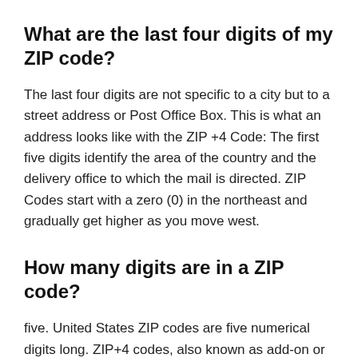What are the last four digits of my ZIP code?
The last four digits are not specific to a city but to a street address or Post Office Box. This is what an address looks like with the ZIP +4 Code: The first five digits identify the area of the country and the delivery office to which the mail is directed. ZIP Codes start with a zero (0) in the northeast and gradually get higher as you move west.
How many digits are in a ZIP code?
five. United States ZIP codes are five numerical digits long. ZIP+4 codes, also known as add-on or